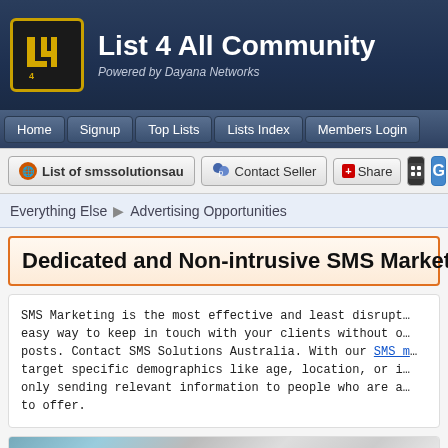List 4 All Community — Powered by Dayana Networks
Home | Signup | Top Lists | Lists Index | Members Login
List of smssolutionsau   Contact Seller   Share
Everything Else ▶ Advertising Opportunities
Dedicated and Non-intrusive SMS Marketi...
SMS Marketing is the most effective and least disrupt... easy way to keep in touch with your clients without o... posts. Contact SMS Solutions Australia. With our SMS ... target specific demographics like age, location, or i... only sending relevant information to people who are a... to offer.